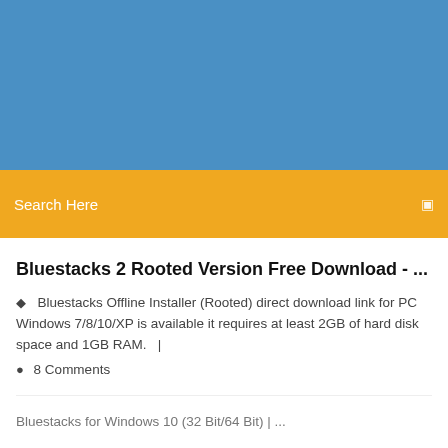[Figure (other): Blue header banner background]
Search Here
Bluestacks 2 Rooted Version Free Download - ...
Bluestacks Offline Installer (Rooted) direct download link for PC Windows 7/8/10/XP is available it requires at least 2GB of hard disk space and 1GB RAM.   |
8 Comments
Bluestacks for Windows 10 (32 Bit/64 Bit) | ...